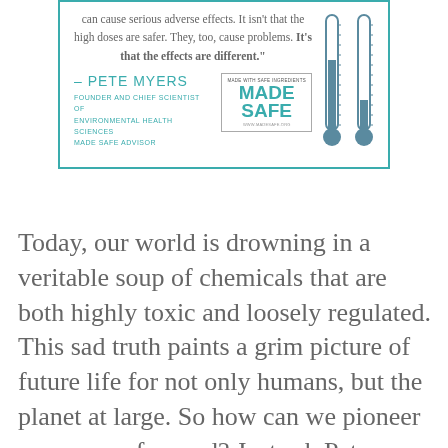[Figure (infographic): An infographic box with a Pete Myers quote about low-dose chemical effects being different from high-dose effects, two thermometer illustrations, attribution to Pete Myers (Founder and Chief Scientist of Environmental Health Sciences, MADE SAFE Advisor), and a MADE SAFE logo badge.]
Today, our world is drowning in a veritable soup of chemicals that are both highly toxic and loosely regulated. This sad truth paints a grim picture of future life for not only humans, but the planet at large. So how can we pioneer a new way forward? Just ask Pete Myers, founder and chief scientist of Environmental Health Sciences and trusted advisor to MADE